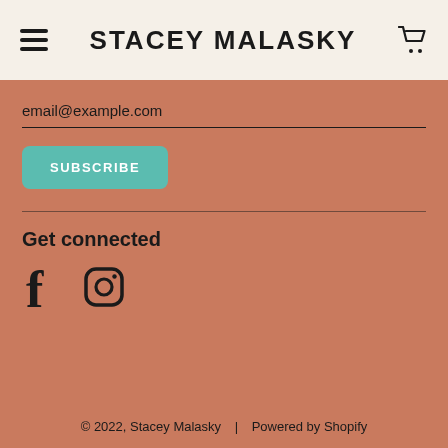STACEY MALASKY
email@example.com
SUBSCRIBE
Get connected
[Figure (other): Facebook and Instagram social media icons]
© 2022, Stacey Malasky | Powered by Shopify